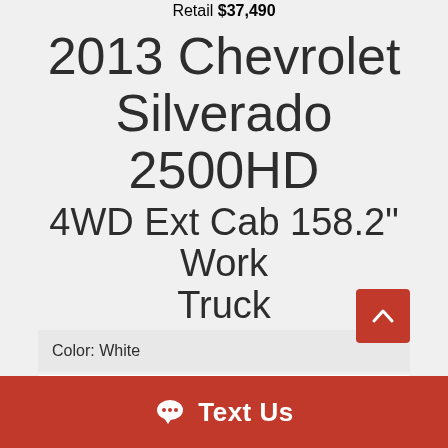Retail $37,490
2013 Chevrolet Silverado 2500HD 4WD Ext Cab 158.2" Work Truck
Color: White
Interior: Cloth
Interior Color: Black
Drive Train: 4WD
Transmission: Automatic
Text Us